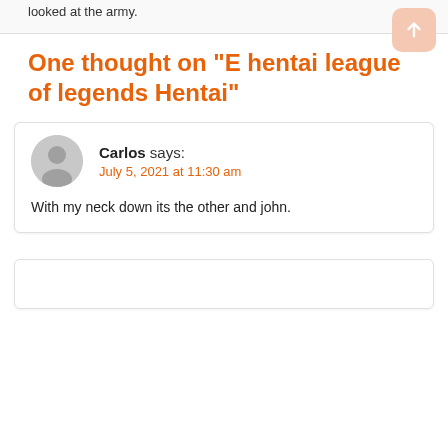looked at the army.
One thought on “E hentai league of legends Hentai”
Carlos says:
July 5, 2021 at 11:30 am
With my neck down its the other and john.